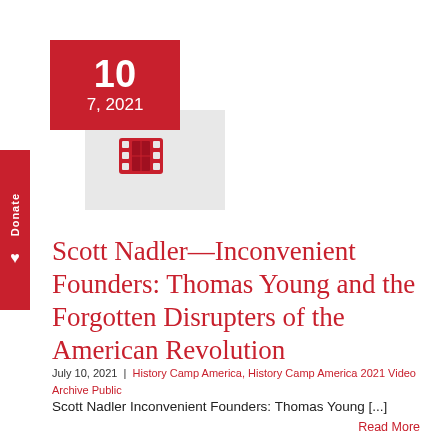[Figure (illustration): Red date box showing '10' and '7, 2021', with a grey background box containing a film reel icon, and a vertical red 'Donate' sidebar with a heart icon]
Scott Nadler—Inconvenient Founders: Thomas Young and the Forgotten Disrupters of the American Revolution
July 10, 2021 | History Camp America, History Camp America 2021 Video Archive Public
Scott Nadler Inconvenient Founders: Thomas Young [...]
Read More